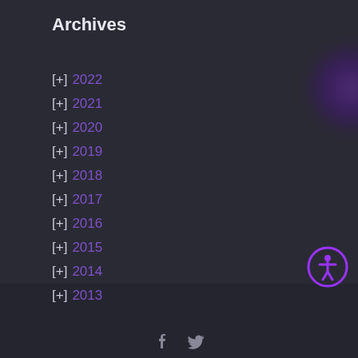Archives
[+] 2022
[+] 2021
[+] 2020
[+] 2019
[+] 2018
[+] 2017
[+] 2016
[+] 2015
[+] 2014
[+] 2013
[Figure (illustration): Accessibility widget button (purple circle with person icon)]
[Figure (illustration): Social media icons: Facebook and Twitter in page footer]